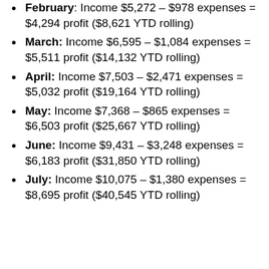February: Income $5,272 – $978 expenses = $4,294 profit ($8,621 YTD rolling)
March: Income $6,595 – $1,084 expenses = $5,511 profit ($14,132 YTD rolling)
April: Income $7,503 – $2,471 expenses = $5,032 profit ($19,164 YTD rolling)
May: Income $7,368 – $865 expenses = $6,503 profit ($25,667 YTD rolling)
June: Income $9,431 – $3,248 expenses = $6,183 profit ($31,850 YTD rolling)
July: Income $10,075 – $1,380 expenses = $8,695 profit ($40,545 YTD rolling)